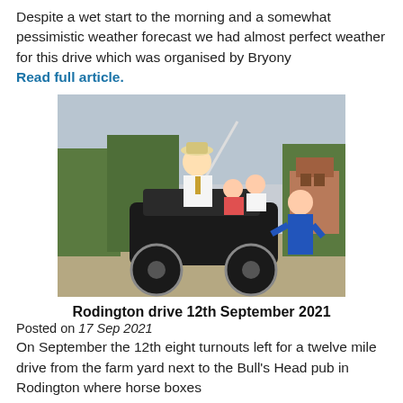Despite a wet start to the morning and a somewhat pessimistic weather forecast we had almost perfect weather for this drive which was organised by Bryony
Read full article.
[Figure (photo): A man in a hat and formal attire sitting in a horse-drawn carriage with two young children, and a woman in a blue jacket standing beside the carriage. Rural background with trees and a building.]
Rodington drive 12th September 2021
Posted on 17 Sep 2021
On September the 12th eight turnouts left for a twelve mile drive from the farm yard next to the Bull's Head pub in Rodington where horse boxes